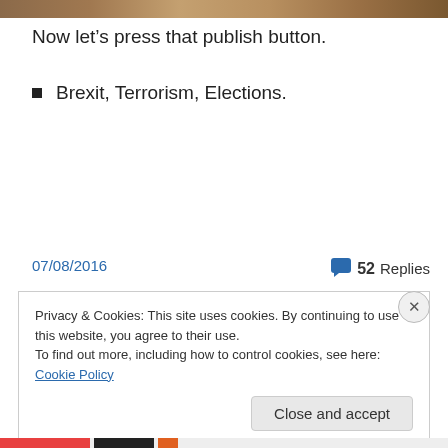[Figure (photo): Top image strip showing a brownish/earthy colored banner image]
Now let’s press that publish button.
Brexit, Terrorism, Elections.
07/08/2016
💬 52 Replies
Privacy & Cookies: This site uses cookies. By continuing to use this website, you agree to their use.
To find out more, including how to control cookies, see here: Cookie Policy
Close and accept